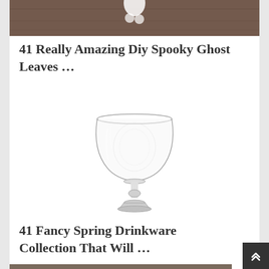[Figure (photo): Partial cropped photo of DIY spooky ghost leaves decoration on a wooden background, showing white ghost shapes]
41 Really Amazing Diy Spooky Ghost Leaves …
[Figure (photo): A clear etched crystal wine goblet on white background]
41 Fancy Spring Drinkware Collection That Will …
[Figure (photo): Partial bottom image showing rope/twine decorations hanging in front of a brick wall]